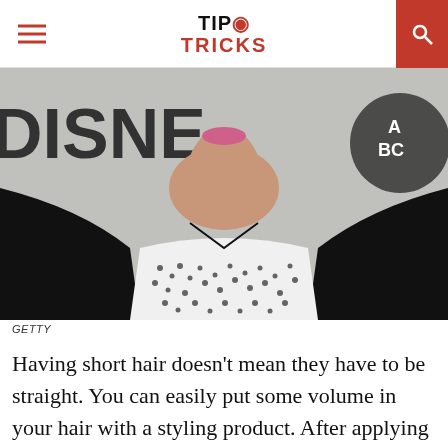TIP TRICKS
[Figure (photo): Close-up photo of a woman with pink lips wearing a black jacket over a black-and-white spotted top, in front of Disney and ABC signage backdrop. Credit: GETTY]
GETTY
Having short hair doesn't mean they have to be straight. You can easily put some volume in your hair with a styling product. After applying